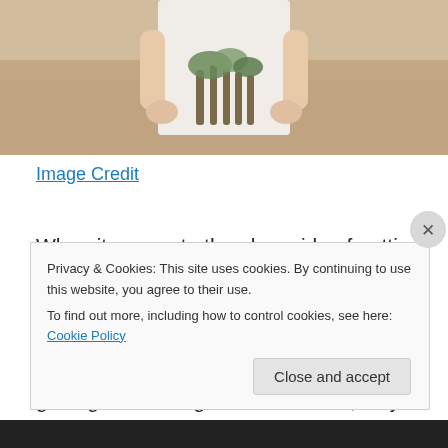[Figure (photo): Partial photo of a bride in white dress holding a flower bouquet, cropped at torso level with a blurred outdoor background]
Image Credit
When it comes to the glam side of getting married, it can feel quite overwhelming. After all, you want to make sure that you look your best. All eyes are going to be on you, and we're sure you do not intend on getting married again in the future, so you want to make sure that you look your very best.
Privacy & Cookies: This site uses cookies. By continuing to use this website, you agree to their use.
To find out more, including how to control cookies, see here: Cookie Policy
Close and accept